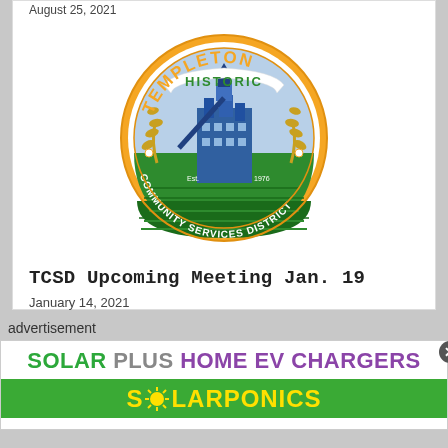August 25, 2021
[Figure (logo): Historic Templeton Community Services District circular seal with grain elevator building, wheat stalks, green fields, orange and green border with text 'HISTORIC TEMPLETON COMMUNITY SERVICES DISTRICT' and 'Est. 1976']
TCSD Upcoming Meeting Jan. 19
January 14, 2021
advertisement
[Figure (infographic): Advertisement banner: 'SOLAR PLUS HOME EV CHARGERS' in large bold text (SOLAR in green, PLUS in gray, HOME EV CHARGERS in purple) on white background, with SOLARPONICS in yellow bold text on green background below]